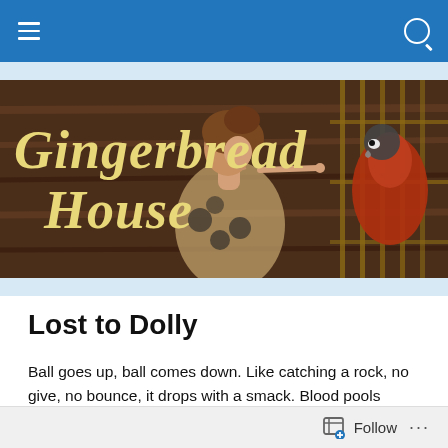Navigation bar with hamburger menu and search icon
[Figure (illustration): Gingerbread House blog banner featuring a medieval-style illustration of a woman with curly hair facing a parrot in a cage, against a dark wood-toned background. The text 'Gingerbread House' is overlaid in large gold serif italic letters.]
Lost to Dolly
Ball goes up, ball comes down. Like catching a rock, no give, no bounce, it drops with a smack. Blood pools under her lifeline and heartline, skin prickling and reddened. The ball glints yellow against the dark slate walls. Slate is dull,
Follow  ...